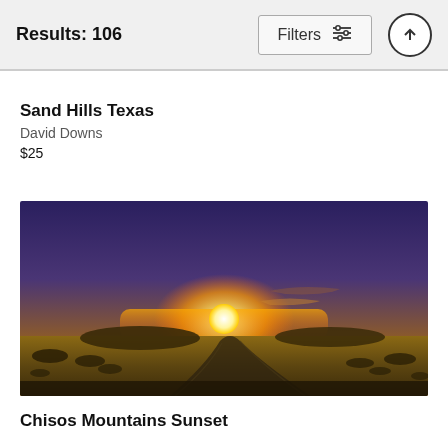Results: 106
Sand Hills Texas
David Downs
$25
[Figure (photo): Landscape photograph of a desert sunset scene showing a winding road through scrubland with a large glowing sun on the horizon under a purple-blue sky, labeled Chisos Mountains Sunset]
Chisos Mountains Sunset